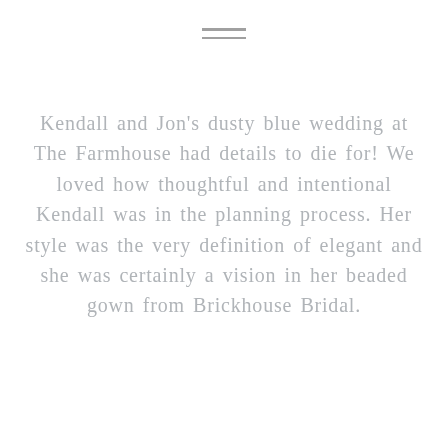[Figure (other): Hamburger menu icon — two horizontal lines centered at top of page]
Kendall and Jon's dusty blue wedding at The Farmhouse had details to die for! We loved how thoughtful and intentional Kendall was in the planning process. Her style was the very definition of elegant and she was certainly a vision in her beaded gown from Brickhouse Bridal.